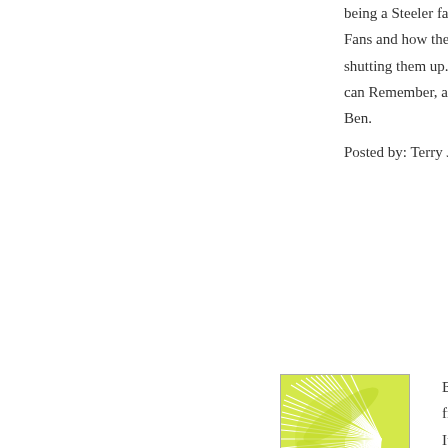being a Steeler fan here. All I h[...] Fans and how they are going to [...] shutting them up. I have been a [...] can Remember, and thats a lon[...] Ben.
Posted by: Terry James | February 10[...]
[Figure (illustration): Green and white decorative avatar image with radiating leaf/sunburst pattern]
Ben- I am from Seattle and I hea[...] friends about how the Seahawks[...] It sure was nice to go back to sc[...] hear nothing from them. I was at the game and at the tea[...] weekend at the "after party". Ca[...] that my first "live" superbowl in[...] the guys winning "one for the th[...] and I know you're gonna be abl[...]
Posted by: Tori | February 10, 2006 a[...]